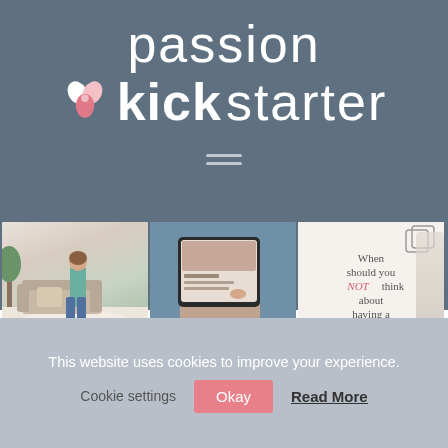passion kickstarter
[Figure (logo): Passion Kickstarter logo with flower/petal icon in pink and light pink, white text 'passion' and 'kickstarter' with bold 'kick']
[Figure (photo): Three thumbnail images: 1) Woman in green sweater and jeans standing in living room with couch and plant, 2) Person holding tablet showing website content, 3) Text card reading 'When should you NOT think about having a website?' with phone image]
This website uses cookies to improve your experience.
Cookie settings   Okay   Read More